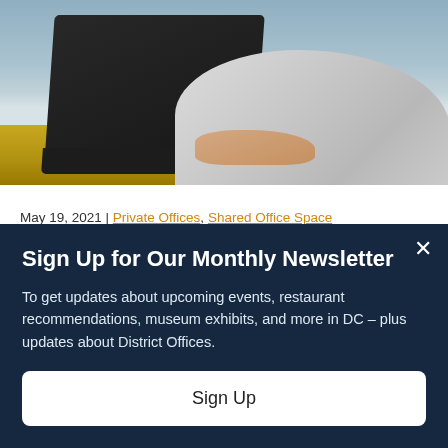[Figure (photo): Person in white/grey knit sweater typing on a dark laptop, placed on a yellow/golden surface. Upper body and hands visible, face not shown.]
May 19, 2021 | Private Offices, Shared Office Space
We’ve all seen the stats that show that when
Sign Up for Our Monthly Newsletter
To get updates about upcoming events, restaurant recommendations, museum exhibits, and more in DC – plus updates about District Offices.
Sign Up